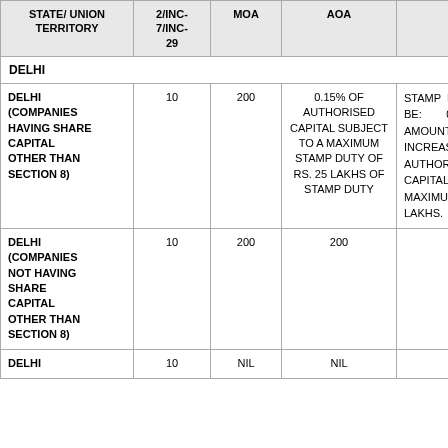| STATE/ UNION TERRITORY | 2/INC-7/INC-29 | MOA | AOA | SH-7 |
| --- | --- | --- | --- | --- |
| DELHI |  |  |  |  |
| DELHI (COMPANIES HAVING SHARE CAPITAL OTHER THAN SECTION 8) | 10 | 200 | 0.15% OF AUTHORISED CAPITAL SUBJECT TO A MAXIMUM STAMP DUTY OF RS. 25 LAKHS OF STAMP DUTY | STAMP DUTY SHALL BE: 0.15% AMOUNT INCREASE AUTHORISED CAPITAL SUBJECT TO MAXIMUM OF RS. 25 LAKHS. |
| DELHI (COMPANIES NOT HAVING SHARE CAPITAL OTHER THAN SECTION 8) | 10 | 200 | 200 | NIL |
| DELHI | 10 | NIL | NIL | NIL |